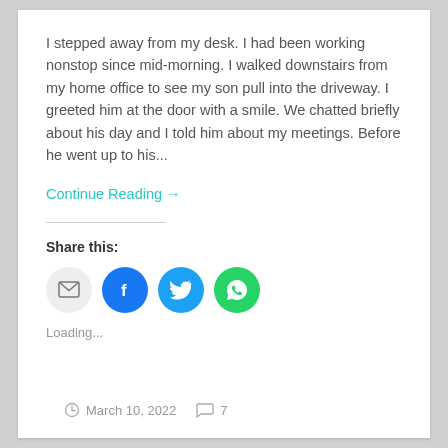I stepped away from my desk. I had been working nonstop since mid-morning. I walked downstairs from my home office to see my son pull into the driveway. I greeted him at the door with a smile. We chatted briefly about his day and I told him about my meetings. Before he went up to his...
Continue Reading →
Share this:
[Figure (infographic): Row of four social share icon circles: email (grey), Facebook (blue), Twitter (light blue), WhatsApp (green)]
Loading...
March 10, 2022   7